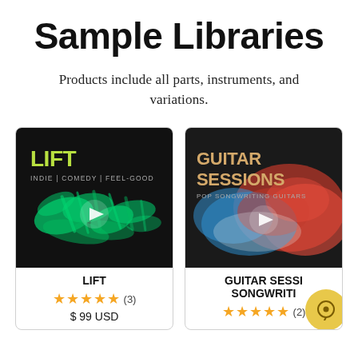Sample Libraries
Products include all parts, instruments, and variations.
[Figure (illustration): Product card for LIFT sample library. Dark background with neon green waveform/particle art. Text: LIFT, INDIE | COMEDY | FEEL-GOOD. Play button in center.]
LIFT
★★★★★ (3)
$ 99 USD
[Figure (illustration): Product card for Guitar Sessions sample library. Dark background with colorful abstract red/blue smoke art. Text: GUITAR SESSIONS, POP SONGWRITING GUITARS. Play button in center.]
GUITAR SESSIONS SONGWRITING
★★★★★ (2)